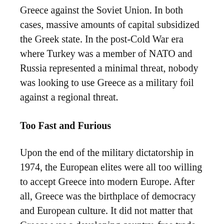Greece against the Soviet Union. In both cases, massive amounts of capital subsidized the Greek state. In the post-Cold War era where Turkey was a member of NATO and Russia represented a minimal threat, nobody was looking to use Greece as a military foil against a regional threat.
Too Fast and Furious
Upon the end of the military dictatorship in 1974, the European elites were all too willing to accept Greece into modern Europe. After all, Greece was the birthplace of democracy and European culture. It did not matter that Greece was a developing country, free trade and economic liberalization would solve that problem. Greece had found a new sponsor.